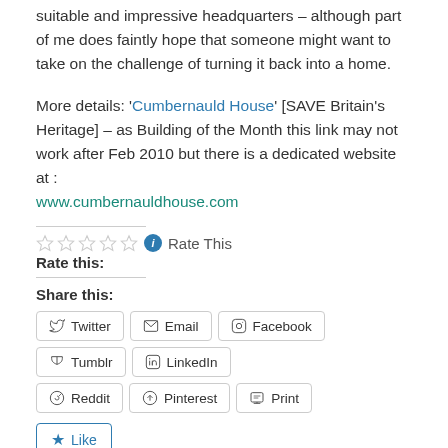suitable and impressive headquarters – although part of me does faintly hope that someone might want to take on the challenge of turning it back into a home.
More details: 'Cumbernauld House' [SAVE Britain's Heritage] – as Building of the Month this link may not work after Feb 2010 but there is a dedicated website at : www.cumbernauldhouse.com
Rate this:
Share this:
Twitter | Email | Facebook | Tumblr | LinkedIn | Reddit | Pinterest | Print
Like
Be the first to like this.